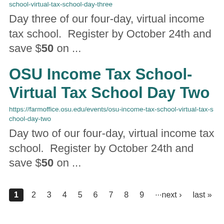school-virtual-tax-school-day-three
Day three of our four-day, virtual income tax school.  Register by October 24th and save $50 on ...
OSU Income Tax School- Virtual Tax School Day Two
https://farmoffice.osu.edu/events/osu-income-tax-school-virtual-tax-school-day-two
Day two of our four-day, virtual income tax school.  Register by October 24th and save $50 on ...
1  2  3  4  5  6  7  8  9  ···next ›  last »